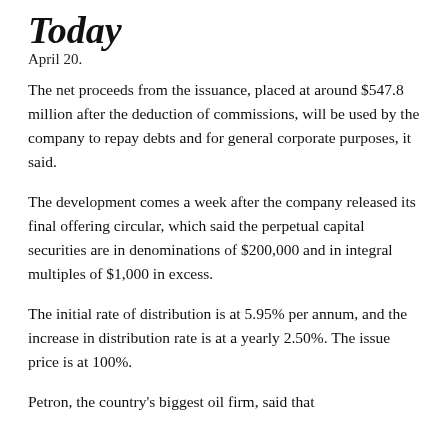Today
April 20.
The net proceeds from the issuance, placed at around $547.8 million after the deduction of commissions, will be used by the company to repay debts and for general corporate purposes, it said.
The development comes a week after the company released its final offering circular, which said the perpetual capital securities are in denominations of $200,000 and in integral multiples of $1,000 in excess.
The initial rate of distribution is at 5.95% per annum, and the increase in distribution rate is at a yearly 2.50%. The issue price is at 100%.
Petron, the country's biggest oil firm, said that